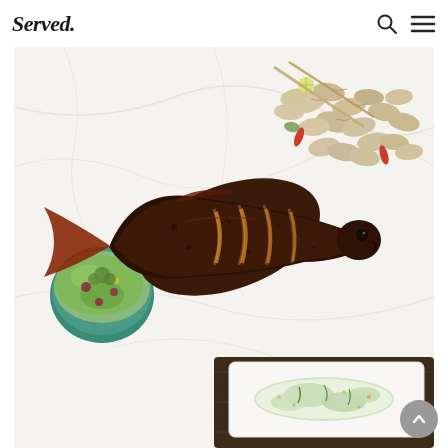Served. [logo] [search icon] [menu icon]
[Figure (photo): Food photography showing a whole grilled/spiced fish (sea bream or similar) with scored sides, placed on a white marble surface. Surrounding the fish are: a bowl of green salad with vegetables on the left, a pile of open clams/shellfish with lemon and chili peppers on the upper right, and a partial view of a white rectangular dish with green herbs and nuts on the lower right, placed on a dark wooden board.]